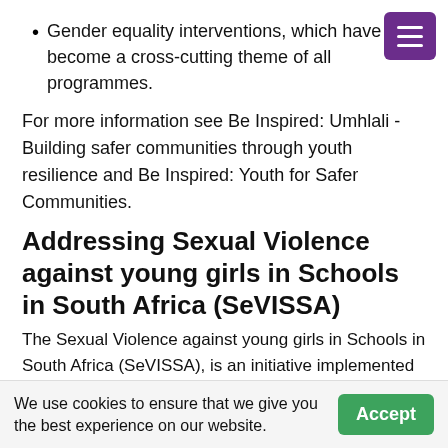Gender equality interventions, which have also become a cross-cutting theme of all programmes.
For more information see Be Inspired: Umhlali - Building safer communities through youth resilience and Be Inspired: Youth for Safer Communities.
Addressing Sexual Violence against young girls in Schools in South Africa (SeVISSA)
The Sexual Violence against young girls in Schools in South Africa (SeVISSA), is an initiative implemented by the CJCP in collaboration with the University of Cape Town and Comic
We use cookies to ensure that we give you the best experience on our website.